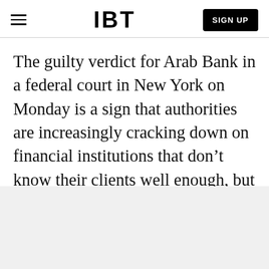IBT | SIGN UP
The guilty verdict for Arab Bank in a federal court in New York on Monday is a sign that authorities are increasingly cracking down on financial institutions that don't know their clients well enough, but it could discourage banks from operating in some of the world's most vulnerable countries, say experts.